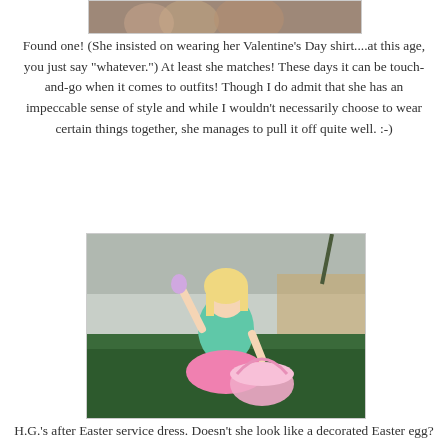[Figure (photo): Top portion of a photo showing what appears to be Easter eggs or a child, partially cropped at the top of the page]
Found one! (She insisted on wearing her Valentine's Day shirt....at this age, you just say "whatever.")  At least she matches!  These days it can be touch-and-go when it comes to outfits!  Though I do admit that she has an impeccable sense of style and while I wouldn't necessarily choose to wear certain things together, she manages to pull it off quite well.  :-)
[Figure (photo): A young blonde girl wearing a teal/mint top and pink tutu skirt, holding up Easter eggs, standing outside in front of hedges with a pink Easter basket]
H.G.'s after Easter service dress.  Doesn't she look like a decorated Easter egg?
[Figure (photo): Partial bottom photo, cropped, showing beginning of another image]